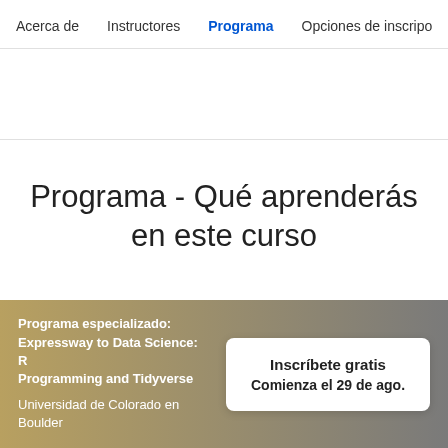Acerca de    Instructores    Programa    Opciones de inscripci...
Programa - Qué aprenderás en este curso
Programa especializado: Expressway to Data Science: R Programming and Tidyverse
Universidad de Colorado en Boulder
Inscríbete gratis
Comienza el 29 de ago.